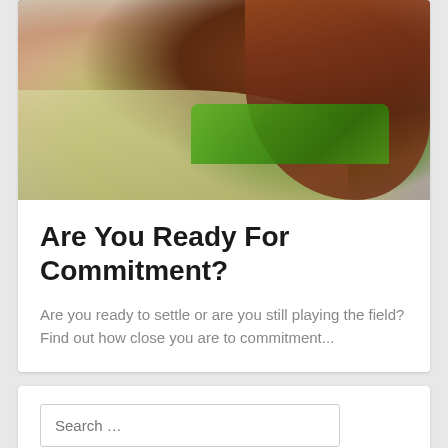[Figure (photo): Person wearing a light yellow-green t-shirt with green letter text partially visible ('HAWA' or similar), with red-brown hair falling over their shoulder, partial upper body view]
Are You Ready For Commitment?
Are you ready to settle or are you still playing the field? Find out how close you are to commitment...